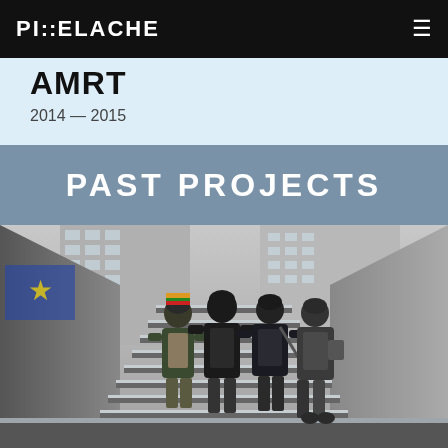PIXELACHE
AMRT
2014 — 2015
PAST PROJECTS
[Figure (photo): Black and white photograph of four people in winter coats climbing an outdoor staircase between concrete buildings with snow on the steps. A person with a colorful striped beanie hat is visible among the group.]